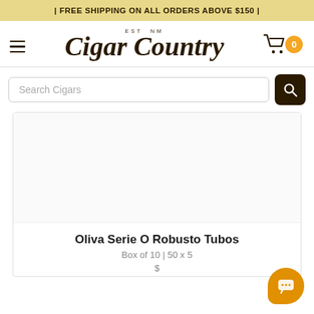| FREE SHIPPING ON ALL ORDERS ABOVE $150 |
[Figure (logo): Cigar Country logo with cursive script text and EST NM above]
[Figure (infographic): Shopping cart icon with orange badge showing 0 items]
[Figure (infographic): Search bar with placeholder 'Search Cigars' and dark search button]
[Figure (photo): Product image area (mostly white/blank) inside a bordered card]
Oliva Serie O Robusto Tubos
Box of 10 | 50 x 5